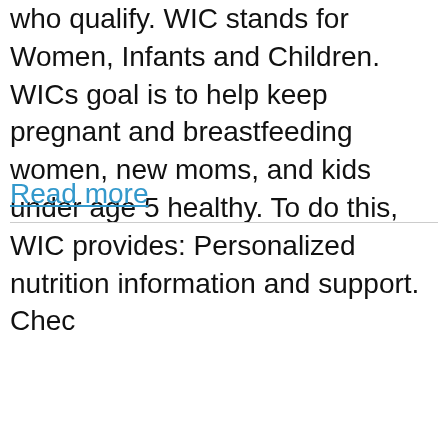who qualify. WIC stands for Women, Infants and Children. WICs goal is to help keep pregnant and breastfeeding women, new moms, and kids under age 5 healthy. To do this, WIC provides: Personalized nutrition information and support. Chec
Read more